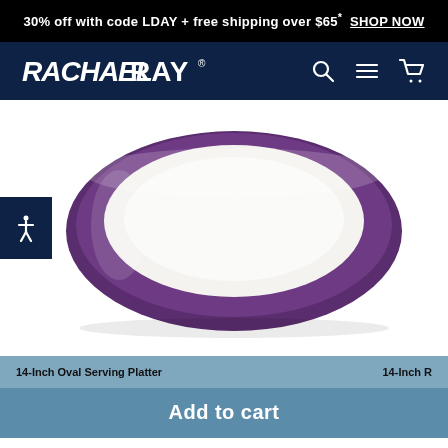30% off with code LDAY + free shipping over $65* SHOP NOW
[Figure (logo): Rachael Ray brand logo in white text on dark navy navigation bar with search, menu, and cart icons]
[Figure (photo): Oval serving platter or baking dish with white interior and purple/eggplant exterior rim, viewed from slight angle above, on white background]
14-Inch Oval Serving Platter
Add to cart